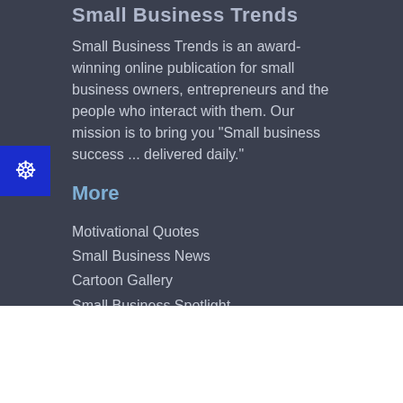Small Business Trends
Small Business Trends is an award-winning online publication for small business owners, entrepreneurs and the people who interact with them. Our mission is to bring you "Small business success ... delivered daily."
More
Motivational Quotes
Small Business News
Cartoon Gallery
Small Business Spotlight
Contact
About
Advertise
Company